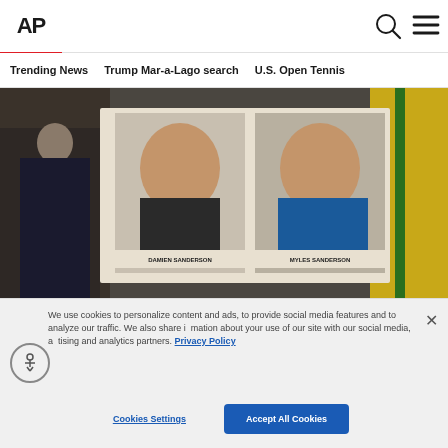AP
Trending News   Trump Mar-a-Lago search   U.S. Open Tennis
[Figure (photo): Photo of two ID placards showing mugshots labeled DAMIEN SANDERSON and MYLES SANDERSON, held up at a press conference with flags visible in the background.]
We use cookies to personalize content and ads, to provide social media features and to analyze our traffic. We also share information about your use of our site with our social media, advertising and analytics partners. Privacy Policy
Cookies Settings
Accept All Cookies